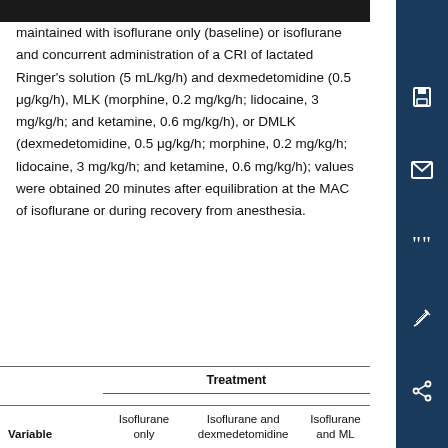maintained with isoflurane only (baseline) or isoflurane and concurrent administration of a CRI of lactated Ringer's solution (5 mL/kg/h) and dexmedetomidine (0.5 μg/kg/h), MLK (morphine, 0.2 mg/kg/h; lidocaine, 3 mg/kg/h; and ketamine, 0.6 mg/kg/h), or DMLK (dexmedetomidine, 0.5 μg/kg/h; morphine, 0.2 mg/kg/h; lidocaine, 3 mg/kg/h; and ketamine, 0.6 mg/kg/h); values were obtained 20 minutes after equilibration at the MAC of isoflurane or during recovery from anesthesia.
| Variable | Isoflurane only | Isoflurane and dexmedetomidine | Isoflurane and ML... |
| --- | --- | --- | --- |